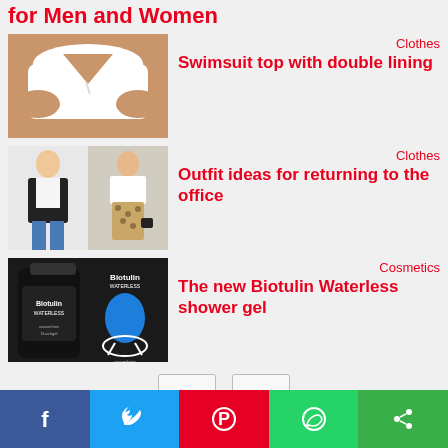for Men and Women
Clothes
[Figure (photo): Person wearing a white swimsuit top with double lining]
Swimsuit top with double lining
Clothes
[Figure (photo): Two photos of women in office casual outfits]
Outfit ideas for returning to the office
Cosmetics
[Figure (photo): Biotulin Waterless shower gel product bottles]
The new Biotulin Waterless shower gel
Facebook Twitter Pinterest WhatsApp Share